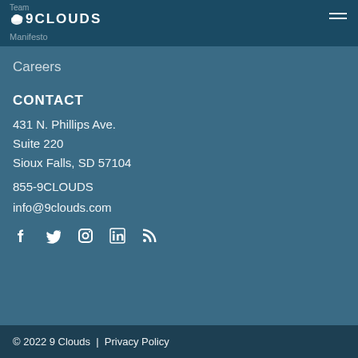Team | 9CLOUDS | Manifesto
Careers
CONTACT
431 N. Phillips Ave.
Suite 220
Sioux Falls, SD 57104
855-9CLOUDS
info@9clouds.com
[Figure (other): Social media icons: Facebook, Twitter, Instagram, LinkedIn, RSS]
© 2022 9 Clouds | Privacy Policy